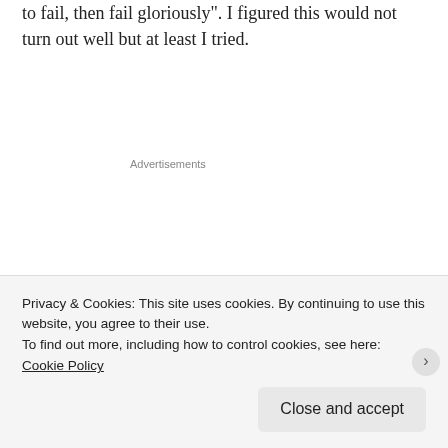to fail, then fail gloriously". I figured this would not turn out well but at least I tried.
[Figure (illustration): WooCommerce advertisement banner with dark navy background, purple speech bubble logo area with 'woo COMMERCE' text, teal triangle shape on left, cyan circle on bottom right, headline text 'Turn your hobby into a business in 8 steps', and a white 'Start a new store' button.]
Privacy & Cookies: This site uses cookies. By continuing to use this website, you agree to their use.
To find out more, including how to control cookies, see here: Cookie Policy